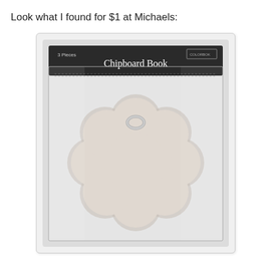Look what I found for $1 at Michaels:
[Figure (photo): A flower-shaped chipboard book in clear plastic packaging with a dark header label reading 'Chipboard Book'. The flower-shaped chipboard pages are light beige/off-white color, bound with a silver ring binder at the top. The packaging label also reads '3 Pieces' and has a brand logo.]